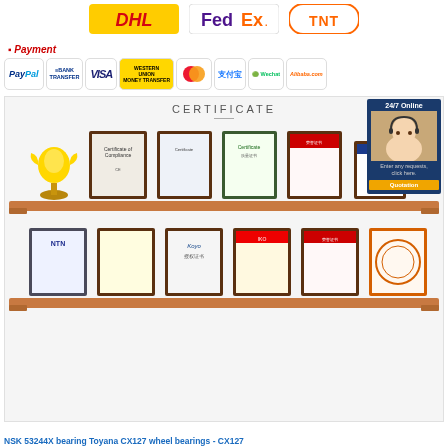[Figure (logo): Shipping carrier logos: DHL, FedEx, TNT]
Payment
[Figure (logo): Payment method logos: PayPal, Bank Transfer, VISA, Western Union Money Transfer, MasterCard, Alipay (支付宝), WeChat, Alibaba.com]
[Figure (photo): Certificate section showing two shelves of framed certificates, awards and accreditations, plus a 24/7 Online customer service badge with a representative photo and Quotation button. Upper shelf has a trophy and 6 framed certificates. Lower shelf has 6 framed certificates.]
NSK 53244X bearing Toyana CX127 wheel bearings - CX127